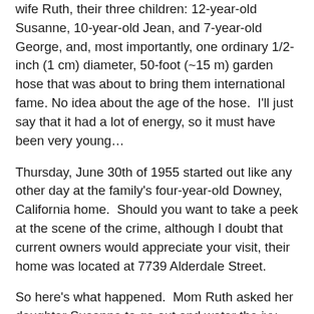wife Ruth, their three children: 12-year-old Susanne, 10-year-old Jean, and 7-year-old George, and, most importantly, one ordinary 1/2-inch (1 cm) diameter, 50-foot (~15 m) garden hose that was about to bring them international fame. No idea about the age of the hose.  I'll just say that it had a lot of energy, so it must have been very young…
Thursday, June 30th of 1955 started out like any other day at the family's four-year-old Downey, California home.  Should you want to take a peek at the scene of the crime, although I doubt that current owners would appreciate your visit, their home was located at 7739 Alderdale Street.
So here's what happened.  Mom Ruth asked her daughter Susanne to go out and water the ivy that afternoon.  She came back into the house and told her mom that the hose was stuck in the ground.
Huh?  What?